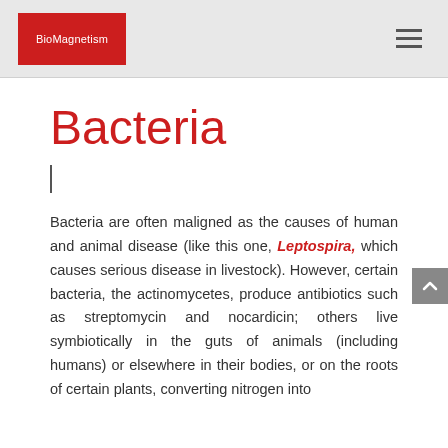BioMagnetism
Bacteria
Bacteria are often maligned as the causes of human and animal disease (like this one, Leptospira, which causes serious disease in livestock). However, certain bacteria, the actinomycetes, produce antibiotics such as streptomycin and nocardicin; others live symbiotically in the guts of animals (including humans) or elsewhere in their bodies, or on the roots of certain plants, converting nitrogen into